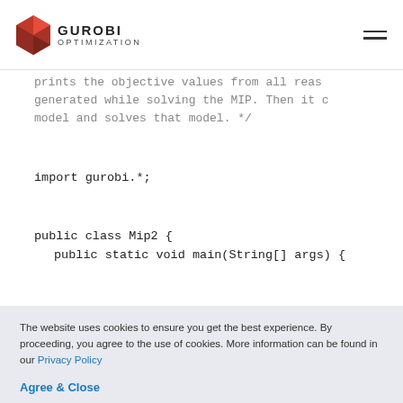GUROBI OPTIMIZATION
prints the objective values from all reaso generated while solving the MIP. Then it c model and solves that model. */
import gurobi.*;
public class Mip2 {
  public static void main(String[] args) {
The website uses cookies to ensure you get the best experience. By proceeding, you agree to the use of cookies. More information can be found in our Privacy Policy
Agree & Close